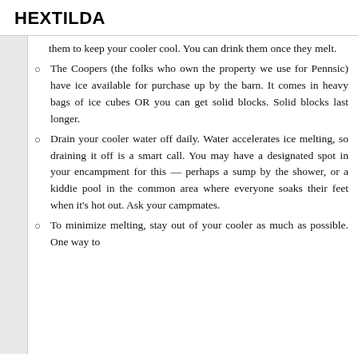HEXTILDA
them to keep your cooler cool. You can drink them once they melt.
The Coopers (the folks who own the property we use for Pennsic) have ice available for purchase up by the barn. It comes in heavy bags of ice cubes OR you can get solid blocks. Solid blocks last longer.
Drain your cooler water off daily. Water accelerates ice melting, so draining it off is a smart call. You may have a designated spot in your encampment for this — perhaps a sump by the shower, or a kiddie pool in the common area where everyone soaks their feet when it's hot out. Ask your campmates.
To minimize melting, stay out of your cooler as much as possible. One way to